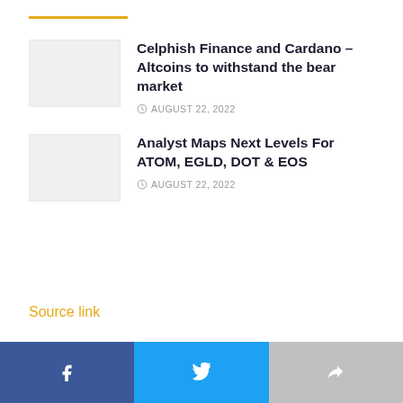Celphish Finance and Cardano – Altcoins to withstand the bear market
AUGUST 22, 2022
Analyst Maps Next Levels For ATOM, EGLD, DOT & EOS
AUGUST 22, 2022
Source link
[Figure (other): Social share buttons: Facebook, Twitter, and a generic share button]